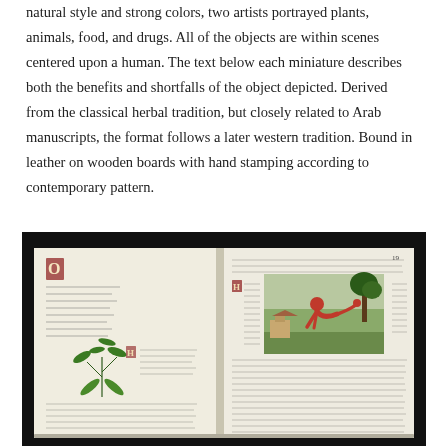natural style and strong colors, two artists portrayed plants, animals, food, and drugs. All of the objects are within scenes centered upon a human. The text below each miniature describes both the benefits and shortfalls of the object depicted. Derived from the classical herbal tradition, but closely related to Arab manuscripts, the format follows a later western tradition. Bound in leather on wooden boards with hand stamping according to contemporary pattern.
[Figure (photo): An open medieval manuscript book showing two pages. The left page contains handwritten text in dark ink and an illustration of a plant (green herb). The right page contains handwritten text and an illustration of a human figure in red clothing bending over near a tree/plant in a landscape setting.]